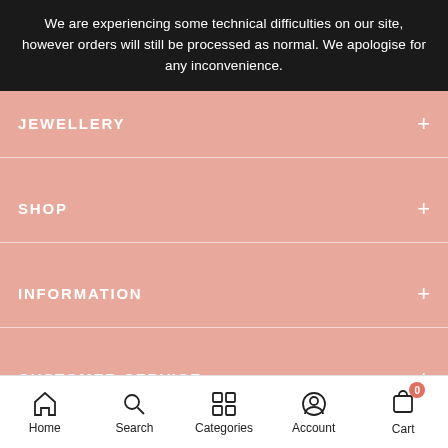We are experiencing some technical difficulties on our site, however orders will still be processed as normal. We apologise for any inconvenience.
JEWELLERY
SHOP
INFORMATION
CUSTOMER SERVICE
© 2022 Engelsrufer South Africa
Home  Search  Categories  Account  Cart